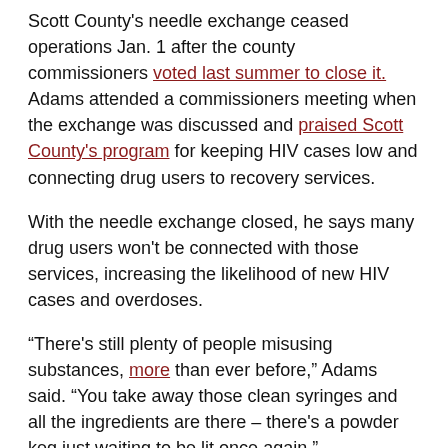Scott County's needle exchange ceased operations Jan. 1 after the county commissioners voted last summer to close it. Adams attended a commissioners meeting when the exchange was discussed and praised Scott County's program for keeping HIV cases low and connecting drug users to recovery services.
With the needle exchange closed, he says many drug users won't be connected with those services, increasing the likelihood of new HIV cases and overdoses.
“There's still plenty of people misusing substances, more than ever before,” Adams said. “You take away those clean syringes and all the ingredients are there – there's a powder keg just waiting to be lit once again.”
Efforts are underway to start a privately run needle exchange in the county, but the timeline for when it would be approved and operational is uncertain.